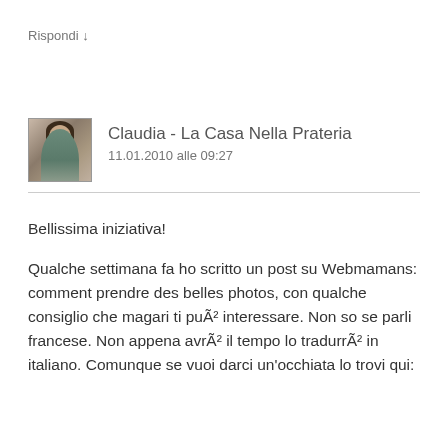Rispondi ↓
Claudia - La Casa Nella Prateria
11.01.2010 alle 09:27
Bellissima iniziativa!
Qualche settimana fa ho scritto un post su Webmamans: comment prendre des belles photos, con qualche consiglio che magari ti puÃ² interessare. Non so se parli francese. Non appena avrÃ² il tempo lo tradurrÃ² in italiano. Comunque se vuoi darci un'occhiata lo trovi qui: